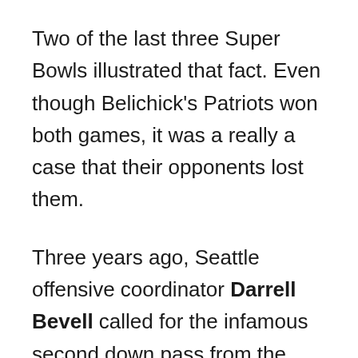Two of the last three Super Bowls illustrated that fact. Even though Belichick's Patriots won both games, it was a really a case that their opponents lost them.
Three years ago, Seattle offensive coordinator Darrell Bevell called for the infamous second down pass from the New England one with less than a minute left and the Seahawks having a time out left. Coach Pete Carroll didn't overrule him. Russell Wilson threw the